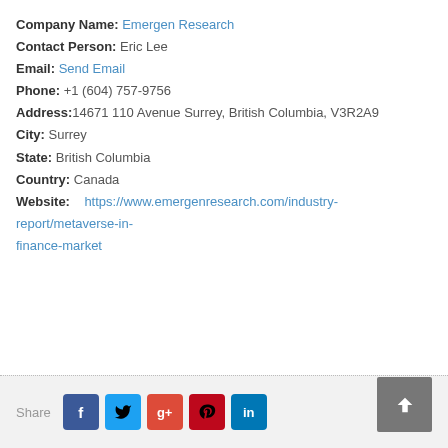Company Name: Emergen Research
Contact Person: Eric Lee
Email: Send Email
Phone: +1 (604) 757-9756
Address: 14671 110 Avenue Surrey, British Columbia, V3R2A9
City: Surrey
State: British Columbia
Country: Canada
Website: https://www.emergenresearch.com/industry-report/metaverse-in-finance-market
Share [Facebook] [Twitter] [Google+] [Pinterest] [LinkedIn]